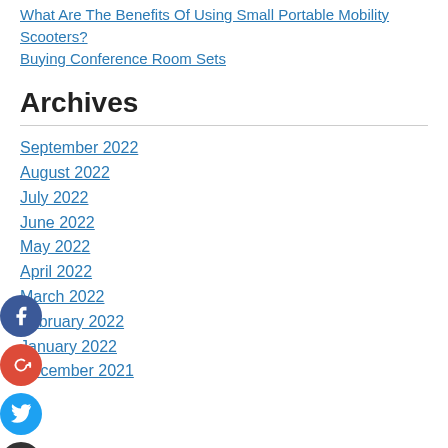What Are The Benefits Of Using Small Portable Mobility Scooters?
Buying Conference Room Sets
Archives
September 2022
August 2022
July 2022
June 2022
May 2022
April 2022
March 2022
February 2022
January 2022
December 2021